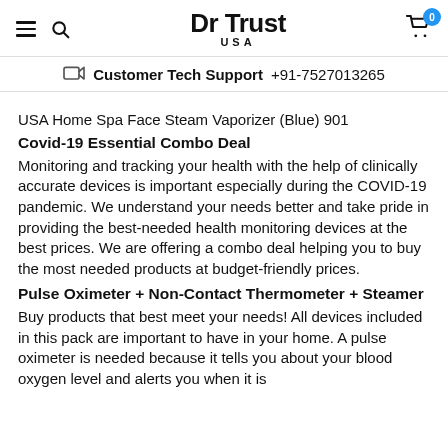Dr Trust USA
Customer Tech Support +91-7527013265
USA Home Spa Face Steam Vaporizer (Blue) 901
Covid-19 Essential Combo Deal
Monitoring and tracking your health with the help of clinically accurate devices is important especially during the COVID-19 pandemic. We understand your needs better and take pride in providing the best-needed health monitoring devices at the best prices. We are offering a combo deal helping you to buy the most needed products at budget-friendly prices.
Pulse Oximeter + Non-Contact Thermometer + Steamer
Buy products that best meet your needs! All devices included in this pack are important to have in your home. A pulse oximeter is needed because it tells you about your blood oxygen level and alerts you when it is